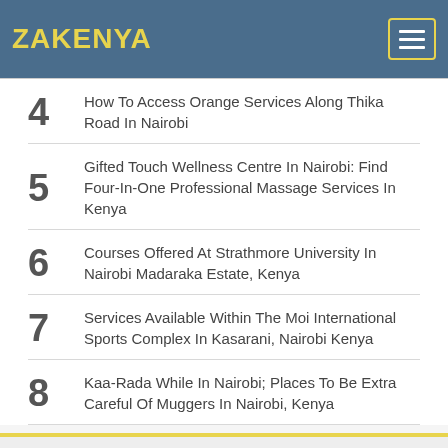ZAKENYA
4  How To Access Orange Services Along Thika Road In Nairobi
5  Gifted Touch Wellness Centre In Nairobi: Find Four-In-One Professional Massage Services In Kenya
6  Courses Offered At Strathmore University In Nairobi Madaraka Estate, Kenya
7  Services Available Within The Moi International Sports Complex In Kasarani, Nairobi Kenya
8  Kaa-Rada While In Nairobi; Places To Be Extra Careful Of Muggers In Nairobi, Kenya
© Suncha Technologies